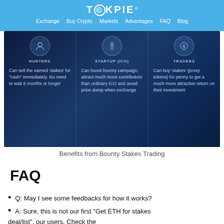TOKPIE — Exchange | Buy Crypto | Markets | Advantages | FAQ | Blog
[Figure (infographic): Benefits from Bounty Stakes Trading infographic showing three columns: HUNTERS (Can sell the earned 'stakes' for "cash" immediately. No need to wait 6 months or longer), STARTUP (ICO) (Can boost bounty campaign, attract much more contributors than ordinary ICO and avoid price dump when exchange), TRADERS (Can buy 'stakes' (proxy tokens) for penny to get a much more attractive return on their investment)]
Benefits from Bounty Stakes Trading
FAQ
Q: May I see some feedbacks for how it works?
A: Sure, this is not our first "Get ETH for stakes